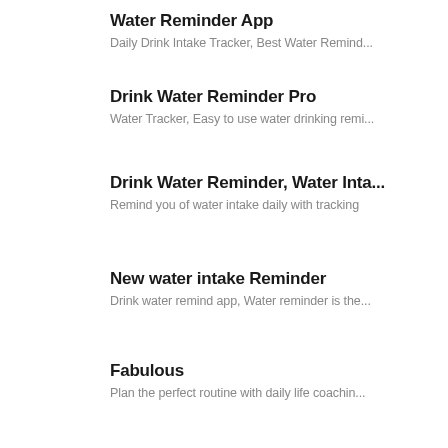Water Reminder App
Daily Drink Intake Tracker, Best Water Remind...
Drink Water Reminder Pro
Water Tracker, Easy to use water drinking remi...
Drink Water Reminder, Water Inta...
Remind you of water intake daily with tracking
New water intake Reminder
Drink water remind app, Water reminder is the...
Fabulous
Plan the perfect routine with daily life coachin...